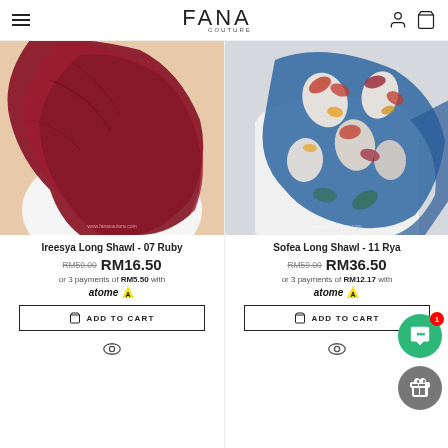FANA COUTURE
[Figure (photo): Model wearing a dark ruby/maroon hijab shawl on beige background, www.fanacouture.com watermark]
Ireesya Long Shawl - 07 Ruby
RM59.00 RM16.50
or 3 payments of RM5.50 with atome
ADD TO CART
[Figure (photo): Model wearing a blue floral printed long shawl on white background, www.fanacouture.com watermark]
Sofea Long Shawl - 11 Rya
RM59.00 RM36.50
or 3 payments of RM12.17 with atome
ADD TO CART